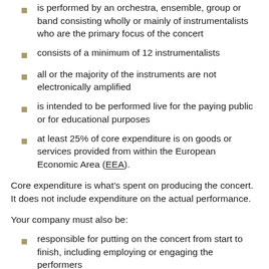is performed by an orchestra, ensemble, group or band consisting wholly or mainly of instrumentalists who are the primary focus of the concert
consists of a minimum of 12 instrumentalists
all or the majority of the instruments are not electronically amplified
is intended to be performed live for the paying public or for educational purposes
at least 25% of core expenditure is on goods or services provided from within the European Economic Area (EEA).
Core expenditure is what’s spent on producing the concert. It does not include expenditure on the actual performance.
Your company must also be:
responsible for putting on the concert from start to finish, including employing or engaging the performers
actively engaged in planning and decision-making